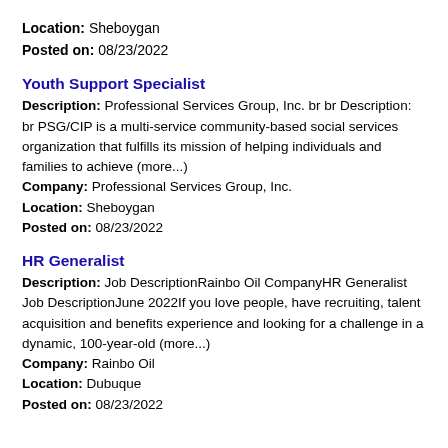Location: Sheboygan
Posted on: 08/23/2022
Youth Support Specialist
Description: Professional Services Group, Inc. br br Description: br PSG/CIP is a multi-service community-based social services organization that fulfills its mission of helping individuals and families to achieve (more...)
Company: Professional Services Group, Inc.
Location: Sheboygan
Posted on: 08/23/2022
HR Generalist
Description: Job DescriptionRainbo Oil CompanyHR Generalist Job DescriptionJune 2022If you love people, have recruiting, talent acquisition and benefits experience and looking for a challenge in a dynamic, 100-year-old (more...)
Company: Rainbo Oil
Location: Dubuque
Posted on: 08/23/2022